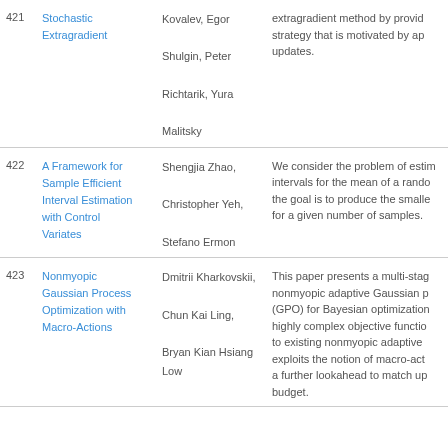| # | Title | Authors | Abstract |
| --- | --- | --- | --- |
| 421 | Stochastic Extragradient | Kovalev, Egor
Shulgin, Peter
Richtarik, Yura
Malitsky | extragradient method by provid... strategy that is motivated by ap... updates. |
| 422 | A Framework for Sample Efficient Interval Estimation with Control Variates | Shengjia Zhao, Christopher Yeh, Stefano Ermon | We consider the problem of esti... intervals for the mean of a rando... the goal is to produce the smalle... for a given number of samples. |
| 423 | Nonmyopic Gaussian Process Optimization with Macro-Actions | Dmitrii Kharkovskii, Chun Kai Ling, Bryan Kian Hsiang Low | This paper presents a multi-stag... nonmyopic adaptive Gaussian p... (GPO) for Bayesian optimization... highly complex objective functio... to existing nonmyopic adaptive ... exploits the notion of macro-act... a further lookahead to match up... budget. |